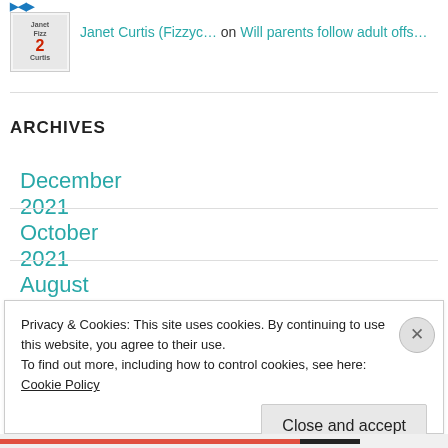[Figure (illustration): Small book cover thumbnail for Janet Curtis (Fizzycurtis) with red number 2 on cover]
Janet Curtis (Fizzyc… on Will parents follow adult offs…
ARCHIVES
December 2021
October 2021
August 2021
Privacy & Cookies: This site uses cookies. By continuing to use this website, you agree to their use.
To find out more, including how to control cookies, see here: Cookie Policy
Close and accept